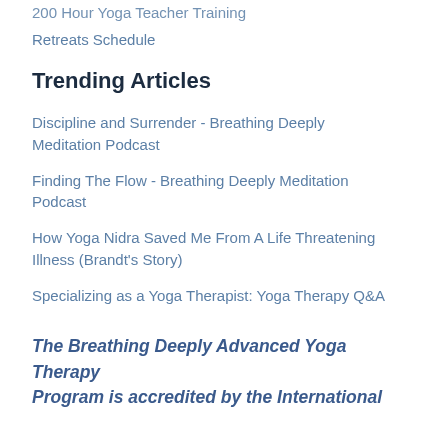200 Hour Yoga Teacher Training
Retreats Schedule
Trending Articles
Discipline and Surrender - Breathing Deeply Meditation Podcast
Finding The Flow - Breathing Deeply Meditation Podcast
How Yoga Nidra Saved Me From A Life Threatening Illness (Brandt's Story)
Specializing as a Yoga Therapist: Yoga Therapy Q&A
The Breathing Deeply Advanced Yoga Therapy Program is accredited by the International